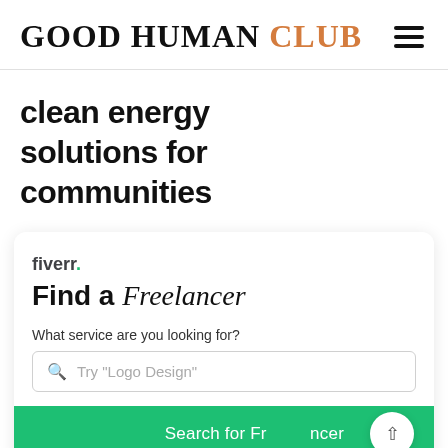GOOD HUMAN CLUB
clean energy solutions for communities
[Figure (screenshot): Fiverr advertisement card with 'Find a Freelancer' headline, search box with placeholder 'Try "Logo Design"', and a green 'Search for Freelancer' button]